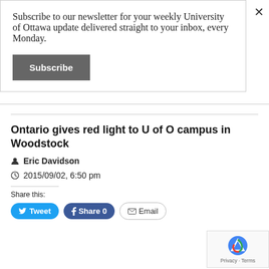Subscribe to our newsletter for your weekly University of Ottawa update delivered straight to your inbox, every Monday.
Subscribe
Ontario gives red light to U of O campus in Woodstock
Eric Davidson
2015/09/02, 6:50 pm
Share this:
Tweet  Share 0  Email